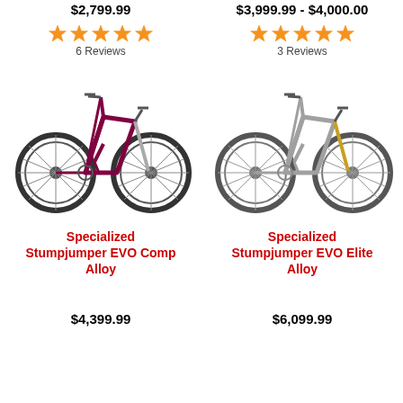$2,799.99
[Figure (infographic): 5 orange star rating icons]
6 Reviews
$3,999.99 - $4,000.00
[Figure (infographic): 5 orange star rating icons]
3 Reviews
[Figure (photo): Mountain bike - Specialized Stumpjumper EVO Comp Alloy in dark red/maroon color, side profile view]
[Figure (photo): Mountain bike - Specialized Stumpjumper EVO Elite Alloy in silver/grey color, side profile view]
Specialized Stumpjumper EVO Comp Alloy
$4,399.99
Specialized Stumpjumper EVO Elite Alloy
$6,099.99